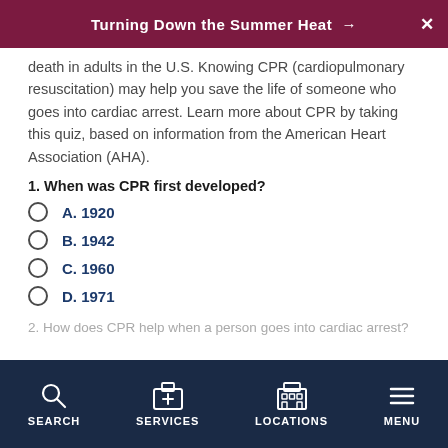Turning Down the Summer Heat →
death in adults in the U.S. Knowing CPR (cardiopulmonary resuscitation) may help you save the life of someone who goes into cardiac arrest. Learn more about CPR by taking this quiz, based on information from the American Heart Association (AHA).
1. When was CPR first developed?
A. 1920
B. 1942
C. 1960
D. 1971
2. How does CPR help when a person goes into cardiac arrest?
SEARCH   SERVICES   LOCATIONS   MENU